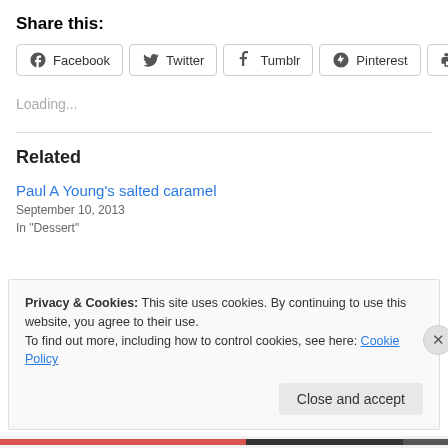Share this:
Facebook  Twitter  Tumblr  Pinterest  Print
Loading...
Related
Paul A Young's salted caramel
September 10, 2013
In "Dessert"
Privacy & Cookies: This site uses cookies. By continuing to use this website, you agree to their use. To find out more, including how to control cookies, see here: Cookie Policy
Close and accept